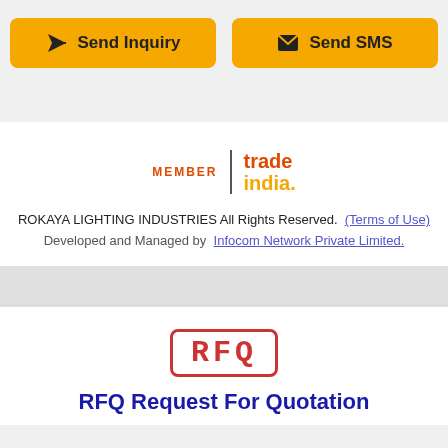[Figure (other): Two yellow buttons: 'Send Inquiry' with paper plane icon and 'Send SMS' with envelope icon]
[Figure (logo): TradeIndia member logo with MEMBER text and tradeindia. branding]
ROKAYA LIGHTING INDUSTRIES All Rights Reserved. (Terms of Use)
Developed and Managed by Infocom Network Private Limited.
[Figure (other): RFQ stamp image with red border and bold RFQ text]
RFQ Request For Quotation